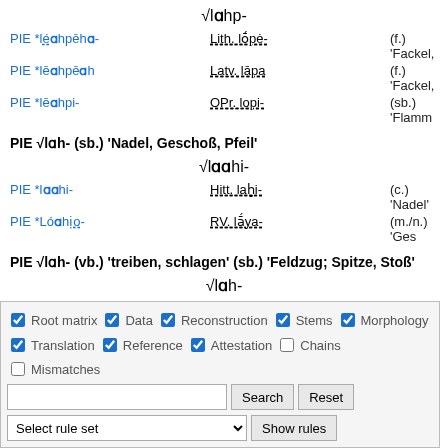√lɑhp-
PIE *léɑhpēhɑ-   Lith. lṓpė-   (f.) 'Fackel,
PIE *lēɑhpēɑh   Latv. lāpa   (f.) 'Fackel,
PIE *lēɑhpi-   OPr. lopi-   (sb.) 'Flamm
PIE √lɑh- (sb.) 'Nadel, Geschoß, Pfeil'
√lɑɑhi-
PIE *lɑɑhi-   Hitt. laḫi-   (c.) 'Nadel'
PIE *Lóɑhịo-   RV. lā́ya-   (m./n.) 'Ges
PIE √lɑh- (vb.) 'treiben, schlagen' (sb.) 'Feldzug; Spitze, Stoß'
√lɑh-
Root matrix ✓ Data ✓ Reconstruction ✓ Stems ✓ Morphology ✓ Translation ✓ Reference ✓ Attestation □ Chains □ Mismatches
Search | Reset
Select rule set | Show rules